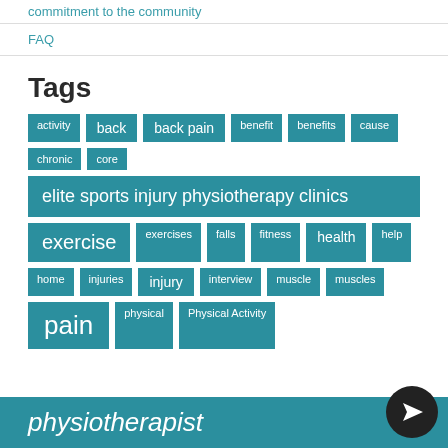commitment to the community
FAQ
Tags
activity
back
back pain
benefit
benefits
cause
chronic
core
elite sports injury physiotherapy clinics
exercise
exercises
falls
fitness
health
help
home
injuries
injury
interview
muscle
muscles
pain
physical
Physical Activity
physiotherapist